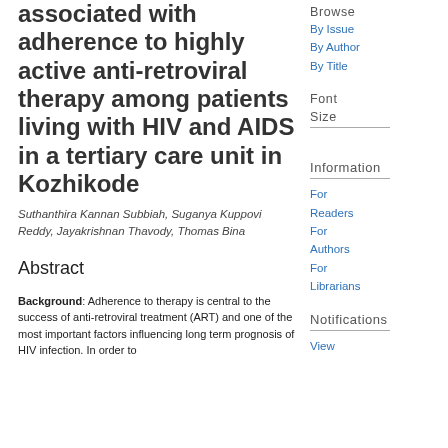associated with adherence to highly active anti-retroviral therapy among patients living with HIV and AIDS in a tertiary care unit in Kozhikode
Suthanthira Kannan Subbiah, Suganya Kuppovi Reddy, Jayakrishnan Thavody, Thomas Bina
Abstract
Background: Adherence to therapy is central to the success of anti-retroviral treatment (ART) and one of the most important factors influencing long term prognosis of HIV infection. In order to
Browse
By Issue
By Author
By Title
Font Size
Information
For Readers
For Authors
For Librarians
Notifications
View